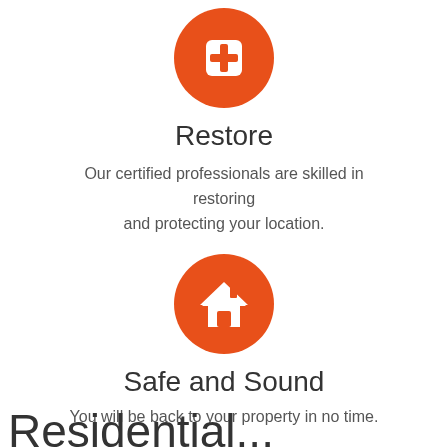[Figure (illustration): Orange circle with white medical cross/plus icon inside]
Restore
Our certified professionals are skilled in restoring and protecting your location.
[Figure (illustration): Orange circle with white house/home icon inside]
Safe and Sound
You will be back to your property in no time.
Residential...